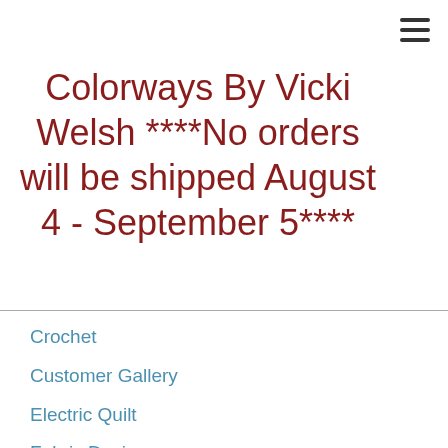Colorways By Vicki Welsh ****No orders will be shipped August 4 - September 5****
Crochet
Customer Gallery
Electric Quilt
Fabric Dyeing
Fabric Painting
Fabric Postcards
Family
Flora's Quilt
Flora's Star Quilts
Garment Sewing
Gifted Quilts
Glass
Kaleidoscope Quilts